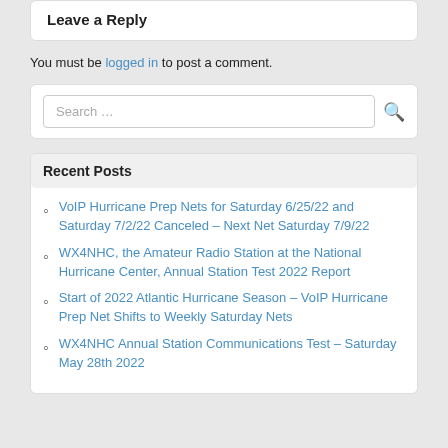Leave a Reply
You must be logged in to post a comment.
Search …
Recent Posts
VoIP Hurricane Prep Nets for Saturday 6/25/22 and Saturday 7/2/22 Canceled – Next Net Saturday 7/9/22
WX4NHC, the Amateur Radio Station at the National Hurricane Center, Annual Station Test 2022 Report
Start of 2022 Atlantic Hurricane Season – VoIP Hurricane Prep Net Shifts to Weekly Saturday Nets
WX4NHC Annual Station Communications Test – Saturday May 28th 2022